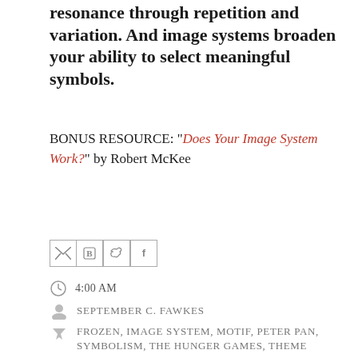resonance through repetition and variation. And image systems broaden your ability to select meaningful symbols.
BONUS RESOURCE: "Does Your Image System Work?" by Robert McKee
[Figure (other): Social sharing icons: Gmail (M), Blogger (B), Twitter bird, Facebook (f) — four square icon buttons in a row]
4:00 AM
SEPTEMBER C. FAWKES
FROZEN, IMAGE SYSTEM, MOTIF, PETER PAN, SYMBOLISM, THE HUNGER GAMES, THEME
NO COMMENTS